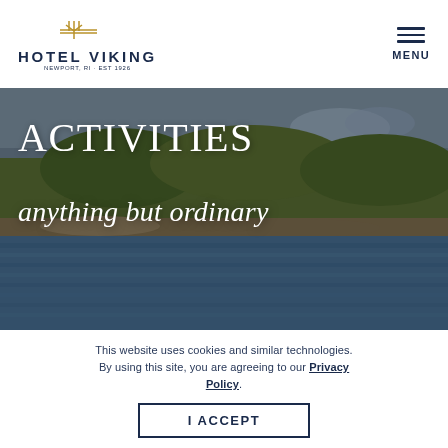[Figure (logo): Hotel Viking logo with decorative icon, text HOTEL VIKING, and tagline NEWPORT, RI - EST 1926]
MENU
[Figure (photo): Scenic waterfront photo showing a rocky shoreline with green trees, water in the foreground, and a partially cloudy sky]
ACTIVITIES
anything but ordinary
This website uses cookies and similar technologies. By using this site, you are agreeing to our Privacy Policy.
I ACCEPT